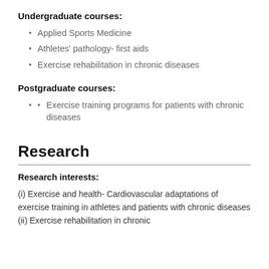Undergraduate courses:
Applied Sports Medicine
Athletes' pathology- first aids
Exercise rehabilitation in chronic diseases
Postgraduate courses:
Exercise training programs for patients with chronic diseases
Research
Research interests:
(i) Exercise and health- Cardiovascular adaptations of exercise training in athletes and patients with chronic diseases (ii) Exercise rehabilitation in chronic